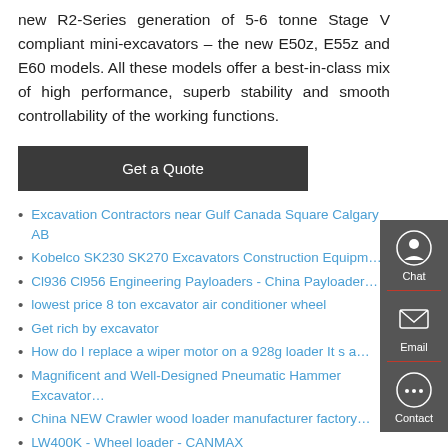new R2-Series generation of 5-6 tonne Stage V compliant mini-excavators – the new E50z, E55z and E60 models. All these models offer a best-in-class mix of high performance, superb stability and smooth controllability of the working functions.
[Figure (other): Get a Quote button - dark background with white text]
Excavation Contractors near Gulf Canada Square Calgary AB
Kobelco SK230 SK270 Excavators Construction Equipm…
Cl936 Cl956 Engineering Payloaders - China Payloader…
lowest price 8 ton excavator air conditioner wheel
Get rich by excavator
How do I replace a wiper motor on a 928g loader It s a…
Magnificent and Well-Designed Pneumatic Hammer Excavator…
China NEW Crawler wood loader manufacturer factory…
LW400K - Wheel loader - CANMAX
Volvo used excavator prices
[Figure (infographic): Right sidebar with Chat, Email, and Contact icons on dark grey background]